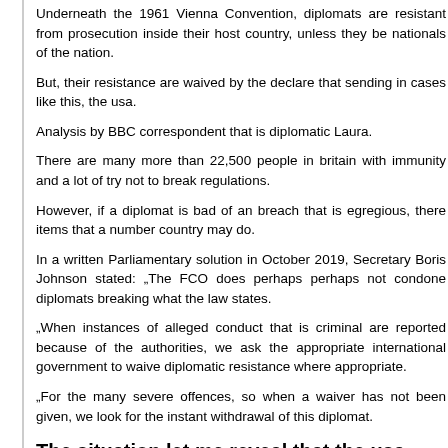Underneath the 1961 Vienna Convention, diplomats are resistant from prosecution inside their host country, unless they be nationals of the nation.
But, their resistance are waived by the declare that sending in cases like this, the usa.
Analysis by BBC correspondent that is diplomatic Laura.
There are many more than 22,500 people in britain with immunity and a lot of try not to break regulations.
However, if a diplomat is bad of an breach that is egregious, there items that a number country may do.
In a written Parliamentary solution in October 2019, Secretary Boris Johnson stated: „The FCO does perhaps perhaps not condone diplomats breaking what the law states.
„When instances of alleged conduct that is criminal are reported because of the authorities, we ask the appropriate international government to waive diplomatic resistance where appropriate.
„For the many severe offences, so when a waiver has not been given, we look for the instant withdrawal of this diplomat.
The situation let me reveal that the usa may actually have given a waive